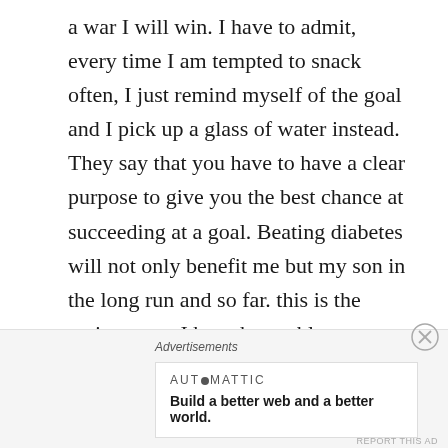a war I will win. I have to admit, every time I am tempted to snack often, I just remind myself of the goal and I pick up a glass of water instead. They say that you have to have a clear purpose to give you the best chance at succeeding at a goal. Beating diabetes will not only benefit me but my son in the long run and so far. this is the main reason I have been able to stay on track. The other reason is the dream of walking into a clothing store and just picking stuff up off the rack that I know I will look good in. Putting on weight completely threw for a loop when it came to clothes shopping. Suddenly all my favourite styles and cuts just looked wrong on me. I can't wait to go
Advertisements
[Figure (other): Automattic advertisement banner with logo text 'AUTOMATTIC' and tagline 'Build a better web and a better world.']